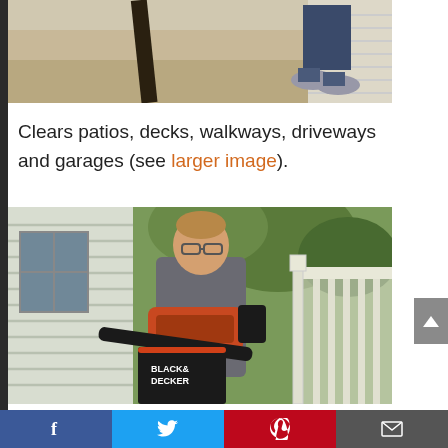[Figure (photo): Cropped top of image showing a person sweeping or working on a porch/walkway, only feet and lower body visible]
Clears patios, decks, walkways, driveways and garages (see larger image).
[Figure (photo): Man wearing glasses and grey jacket using a BLACK+DECKER leaf blower/vacuum on a porch with white railing and green trees in background]
Facebook | Twitter | Pinterest | Email social share bar